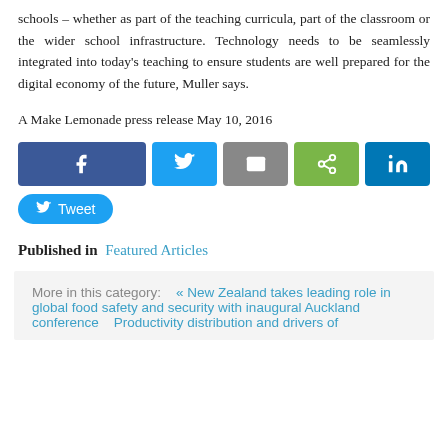schools – whether as part of the teaching curricula, part of the classroom or the wider school infrastructure. Technology needs to be seamlessly integrated into today's teaching to ensure students are well prepared for the digital economy of the future, Muller says.
A Make Lemonade press release May 10, 2016
[Figure (other): Social sharing buttons: Facebook, Twitter, email, share, LinkedIn, and a Tweet button]
Published in  Featured Articles
More in this category:    « New Zealand takes leading role in global food safety and security with inaugural Auckland conference     Productivity distribution and drivers of